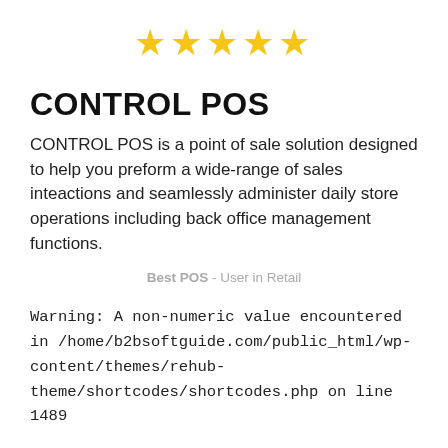[Figure (other): Five gold stars rating]
CONTROL POS
CONTROL POS is a point of sale solution designed to help you preform a wide-range of sales inteactions and seamlessly administer daily store operations including back office management functions.
Best POS - User in Retail
Warning: A non-numeric value encountered in /home/b2bsoftguide.com/public_html/wp-content/themes/rehub-theme/shortcodes/shortcodes.php on line 1489